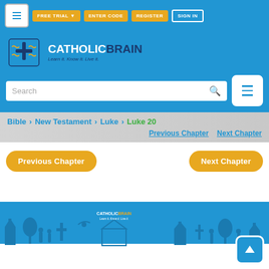FREE TRIAL | ENTER CODE | REGISTER | SIGN IN
[Figure (logo): CatholicBrain logo with brain/cross icon and tagline 'Learn it. Know it. Live it.']
Search
Bible > New Testament > Luke > Luke 20
Previous Chapter   Next Chapter
Previous Chapter
Next Chapter
[Figure (illustration): CatholicBrain footer illustration with silhouettes of people, churches, trees, crosses in blue on white background, with logo centered and scroll-up button in bottom right]